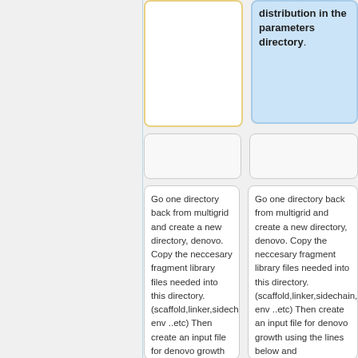distribution in the parameters directory.
Go one directory back from multigrid and create a new directory, denovo. Copy the neccesary fragment library files needed into this directory. (scaffold,linker,sidechain,torsion env ..etc) Then create an input file for denovo growth using the lines below and
Go one directory back from multigrid and create a new directory, denovo. Copy the neccesary fragment library files needed into this directory. (scaffold,linker,sidechain,torsion env ..etc) Then create an input file for denovo growth using the lines below and